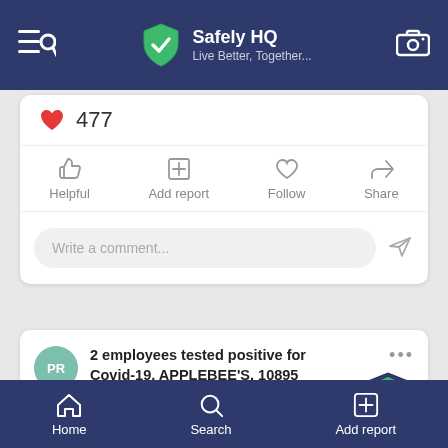Safely HQ – Live Better, Together...
477
Helpful | Add report | Follow | Share
Write a comment...
2 employees tested positive for Covid-19, APPLEBEE'S, 10895 MONTGOMERY BLVD NE, ALBUQUERQUE, NM
7 months ago
Home | Search | Add report